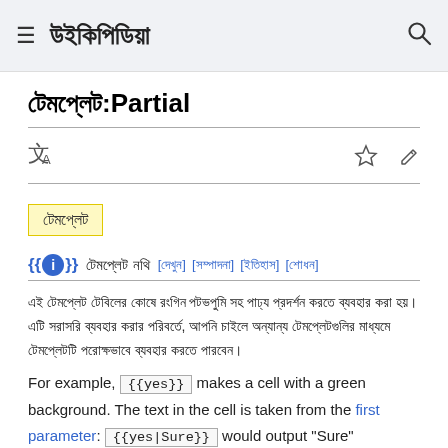উইকিপিডিয়া
টেমপ্লেট:Partial
[Figure (infographic): Language/translate icon and star/edit tool icons row]
টেমপ্লেট
{{ℹ️}} টেমপ্লেট নথি[দেখুন] [সম্পাদনা] [ইতিহাস] [শোধন]
এই টেমপ্লেট টেবিলের কোষে রঙিন পটভূমি সহ পাঠ্য প্রদর্শন করতে ব্যবহার করা হয়। এটি সরাসরি ব্যবহার করার পরিবর্তে, আপনি চাইলে অন্যান্য টেমপ্লেটগুলির মাধ্যমে টেমপ্লেটটি পরোক্ষভাবে ব্যবহার করতে পারবেন।
For example, {{yes}} makes a cell with a green background. The text in the cell is taken from the first parameter: {{yes|Sure}} would output "Sure"